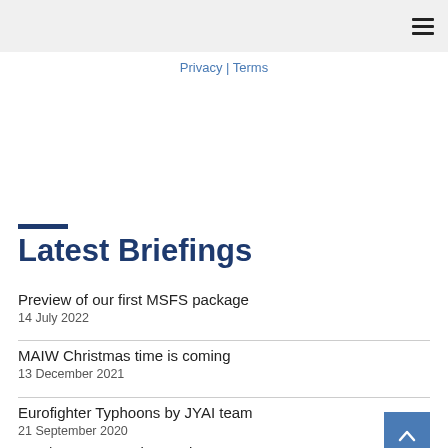≡
Privacy | Terms
Latest Briefings
Preview of our first MSFS package
14 July 2022
MAIW Christmas time is coming
13 December 2021
Eurofighter Typhoons by JYAI team
21 September 2020
FSX/P3D Conversion Update